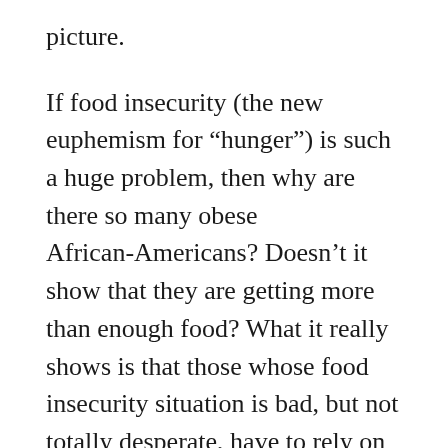picture.
If food insecurity (the new euphemism for “hunger”) is such a huge problem, then why are there so many obese African-Americans? Doesn’t it show that they are getting more than enough food? What it really shows is that those whose food insecurity situation is bad, but not totally desperate, have to rely on cheaper high-calorie food that is full of chemicals and preservatives.
Why don’t inner-city residents buy more vegetables, even organic vegetables? Most inner-city neighborhoods don’t have a supermarket, so the people have to rely on convenience stores that will carry cheaper pre-